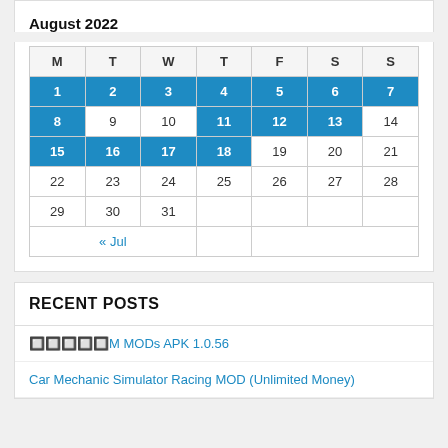August 2022
| M | T | W | T | F | S | S |
| --- | --- | --- | --- | --- | --- | --- |
| 1 | 2 | 3 | 4 | 5 | 6 | 7 |
| 8 | 9 | 10 | 11 | 12 | 13 | 14 |
| 15 | 16 | 17 | 18 | 19 | 20 | 21 |
| 22 | 23 | 24 | 25 | 26 | 27 | 28 |
| 29 | 30 | 31 |  |  |  |  |
| « Jul |  |  |  |  |  |  |
RECENT POSTS
🔲🔲🔲🔲🔲M MODs APK 1.0.56
Car Mechanic Simulator Racing MOD (Unlimited Money)